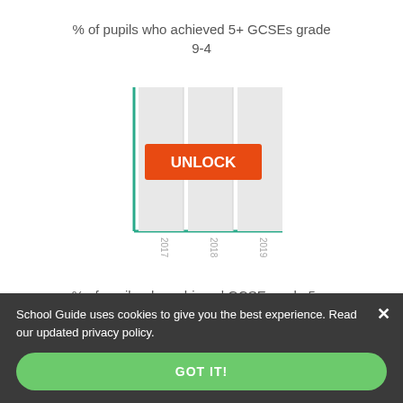% of pupils who achieved 5+ GCSEs grade 9-4
[Figure (bar-chart): Locked bar chart with UNLOCK button overlay. Data not accessible.]
% of pupils who achieved GCSE grade 5 or
School Guide uses cookies to give you the best experience. Read our updated privacy policy.
GOT IT!